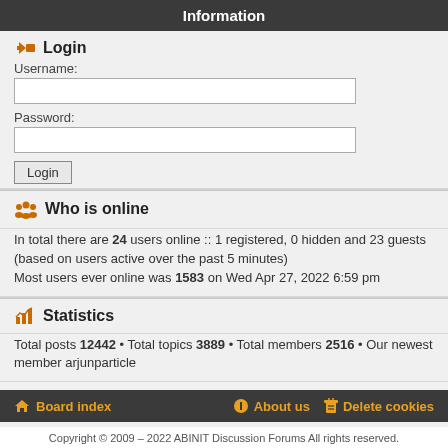Information
Login
Username:
Password:
Who is online
In total there are 24 users online :: 1 registered, 0 hidden and 23 guests (based on users active over the past 5 minutes)
Most users ever online was 1583 on Wed Apr 27, 2022 6:59 pm
Statistics
Total posts 12442 • Total topics 3889 • Total members 2516 • Our newest member arjunparticle
Board index   About us   Delete cookies
Copyright © 2009 – 2022 ABINIT Discussion Forums All rights reserved.